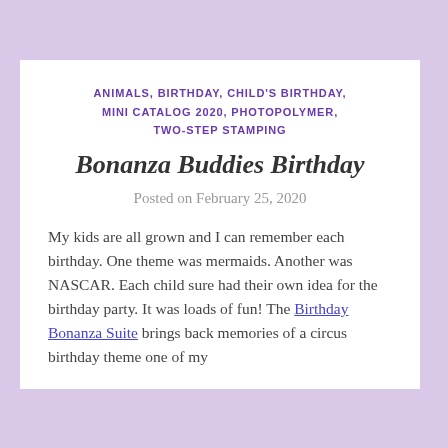ANIMALS, BIRTHDAY, CHILD'S BIRTHDAY, MINI CATALOG 2020, PHOTOPOLYMER, TWO-STEP STAMPING
Bonanza Buddies Birthday
Posted on February 25, 2020
My kids are all grown and I can remember each birthday. One theme was mermaids. Another was NASCAR. Each child sure had their own idea for the birthday party. It was loads of fun! The Birthday Bonanza Suite brings back memories of a circus birthday theme one of my